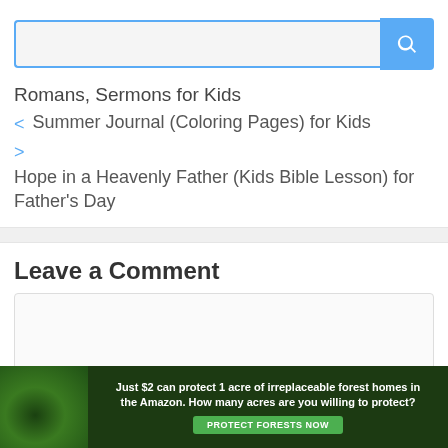[Figure (other): Search input bar with blue border and blue search button with magnifying glass icon]
Romans, Sermons for Kids
< Summer Journal (Coloring Pages) for Kids
> Hope in a Heavenly Father (Kids Bible Lesson) for Father's Day
Leave a Comment
[Figure (other): Comment text area input box]
[Figure (other): Advertisement banner: Just $2 can protect 1 acre of irreplaceable forest homes in the Amazon. How many acres are you willing to protect? PROTECT FORESTS NOW]